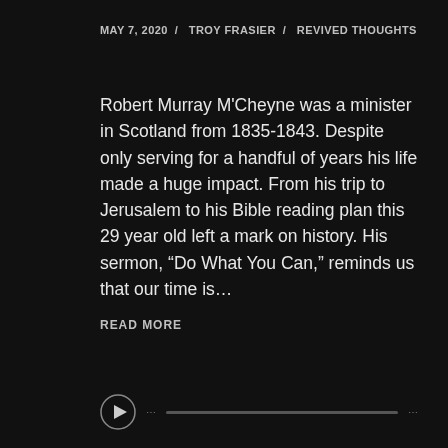MAY 7, 2020 / TROY FRASIER / REVIVED THOUGHTS
Robert Murray M'Cheyne was a minister in Scotland from 1835-1843. Despite only serving for a handful of years his life made a huge impact. From his trip to Jerusalem to his Bible reading plan this 29 year old left a mark on history. His sermon, “Do What You Can,” reminds us that our time is…
READ MORE
[Figure (other): Audio player with play button and progress bar]